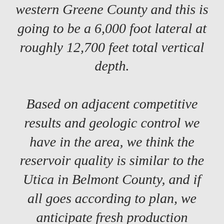western Greene County and this is going to be a 6,000 foot lateral at roughly 12,700 feet total vertical depth. Based on adjacent competitive results and geologic control we have in the area, we think the reservoir quality is similar to the Utica in Belmont County, and if all goes according to plan, we anticipate fresh production sometime during the fourth quarter this year. While we expect the well to be